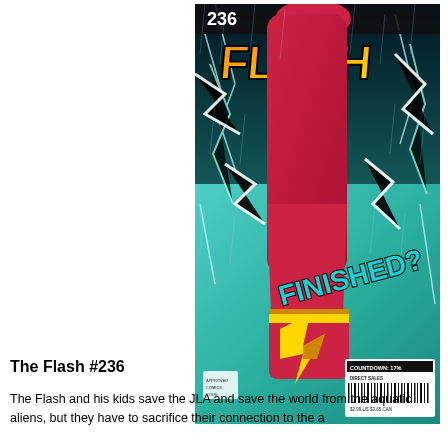[Figure (illustration): Comic book cover of The Flash #236. Shows The Flash's red-booted leg and foot from a low angle with lightning bolts surrounding it. The word 'FINISHED?' appears in large teal letters. A barcode and price tag are visible in the lower right. The Flash logo appears at the top with issue number 236.]
The Flash #236
The Flash and his kids save the JLA and save the world from the aquatic aliens, but they have to sacrifice their connection to the a